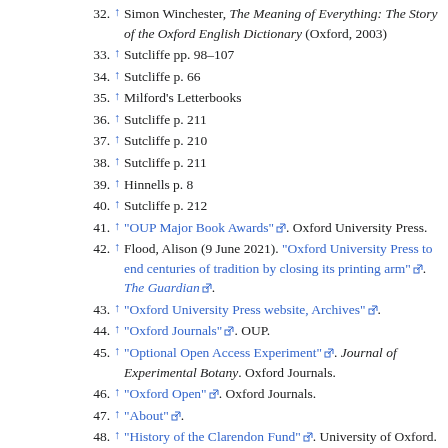32. ↑ Simon Winchester, The Meaning of Everything: The Story of the Oxford English Dictionary (Oxford, 2003)
33. ↑ Sutcliffe pp. 98–107
34. ↑ Sutcliffe p. 66
35. ↑ Milford's Letterbooks
36. ↑ Sutcliffe p. 211
37. ↑ Sutcliffe p. 210
38. ↑ Sutcliffe p. 211
39. ↑ Hinnells p. 8
40. ↑ Sutcliffe p. 212
41. ↑ "OUP Major Book Awards" [link]. Oxford University Press.
42. ↑ Flood, Alison (9 June 2021). "Oxford University Press to end centuries of tradition by closing its printing arm" [link]. The Guardian [link].
43. ↑ "Oxford University Press website, Archives" [link].
44. ↑ "Oxford Journals" [link]. OUP.
45. ↑ "Optional Open Access Experiment" [link]. Journal of Experimental Botany. Oxford Journals.
46. ↑ "Oxford Open" [link]. Oxford Journals.
47. ↑ "About" [link].
48. ↑ "History of the Clarendon Fund" [link]. University of Oxford.